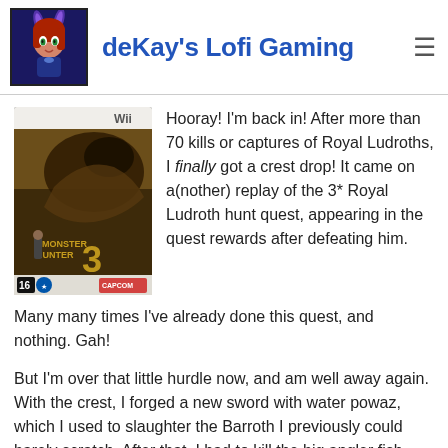deKay's Lofi Gaming
[Figure (illustration): Monster Hunter Tri Wii game box art showing dragon monsters on the cover with Wii logo and age rating 16]
Hooray! I'm back in! After more than 70 kills or captures of Royal Ludroths, I finally got a crest drop! It came on a(nother) replay of the 3* Royal Ludroth hunt quest, appearing in the quest rewards after defeating him. Many many times I've already done this quest, and nothing. Gah!
But I'm over that little hurdle now, and am well away again. With the crest, I forged a new sword with water powaz, which I used to slaughter the Barroth I previously could barely scratch. After that, I had to kill the big angler fish thing in the Flooded Forest, which I did first